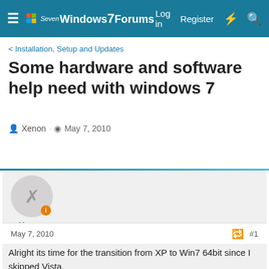Windows 7 Forums — Log in  Register
< Installation, Setup and Updates
Some hardware and software help need with windows 7
Xenon · May 7, 2010
Xenon
May 7, 2010  #1
Alright its time for the transition from XP to Win7 64bit since I skipped Vista.